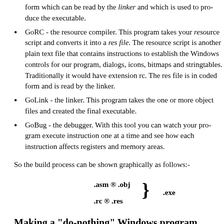form which can be read by the linker and which is used to produce the executable.
GoRC - the resource compiler. This program takes your resource script and converts it into a res file. The resource script is another plain text file that contains instructions to establish the Windows controls for our program, dialogs, icons, bitmaps and stringtables. Traditionally it would have extension rc. The res file is in coded form and is read by the linker.
GoLink - the linker. This program takes the one or more object files and created the final executable.
GoBug - the debugger. With this tool you can watch your program execute instruction one at a time and see how each instruction affects registers and memory areas.
So the build process can be shown graphically as follows:-
[Figure (schematic): Build process diagram showing .asm -> .obj and .rc -> .res feeding into a brace leading to .exe]
Making a "do-nothing" Windows program
Here we going to make a program which loads, executes and finishes without doing anything. This is to demonstrate the build process and to explain a few things.